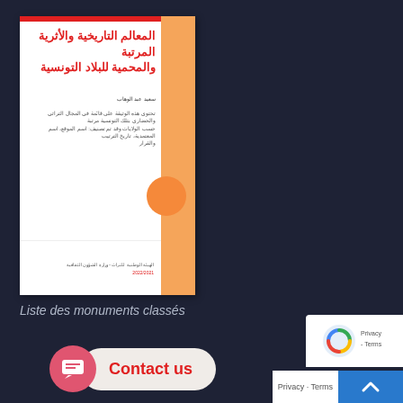[Figure (illustration): Book cover with Arabic title in red on white background with orange stripe on right side. Title reads 'المعالم التاريخية والأثرية المرتبة والمحمية للبلاد التونسية'. Author name and description text in Arabic. Orange circle decoration. Footer with publisher info.]
Liste des monuments classés
[Figure (screenshot): Contact us button with pink chat bubble icon and 'Contact us' text in red on light background pill shape]
[Figure (logo): reCAPTCHA badge with Google reCAPTCHA logo on white background, bottom right corner]